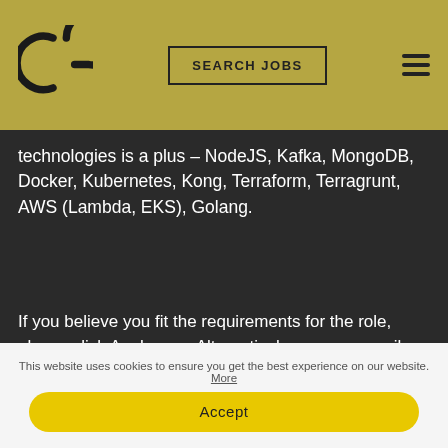[Figure (logo): CG logo (two circular arc letters) on golden/olive header bar with SEARCH JOBS button and hamburger menu icon]
technologies is a plus – NodeJS, Kafka, MongoDB, Docker, Kubernetes, Kong, Terraform, Terragrunt, AWS (Lambda, EKS), Golang.
If you believe you fit the requirements for the role, please click Apply now. Alternatively, you can email your CV to gloria.xu@connexus-global.com or look me up on LinkedIn and message me there. Only shortlisted candidates will be notified.
This website uses cookies to ensure you get the best experience on our website. More
Accept